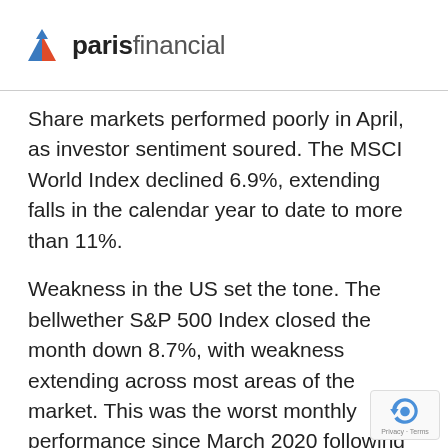paris financial
Share markets performed poorly in April, as investor sentiment soured. The MSCI World Index declined 6.9%, extending falls in the calendar year to date to more than 11%.
Weakness in the US set the tone. The bellwether S&P 500 Index closed the month down 8.7%, with weakness extending across most areas of the market. This was the worst monthly performance since March 2020 following the initial Covid shock.